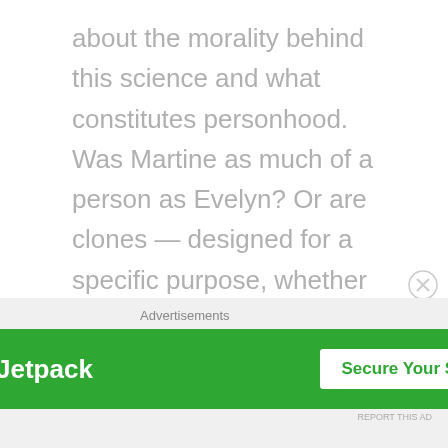about the morality behind this science and what constitutes personhood. Was Martine as much of a person as Evelyn? Or are clones — designed for a specific purpose, whether it's to be a realistic stand-in to protect a politician or, like Martine, to be the perfect wife — disposable? And like any good sci-fi, I found it both marvelously fictional yet also realistic enough it gave me chills thinking about this scenario happening in a near or not-so-near future.
[Figure (other): Jetpack advertisement banner with 'Secure Your Site' button on green background]